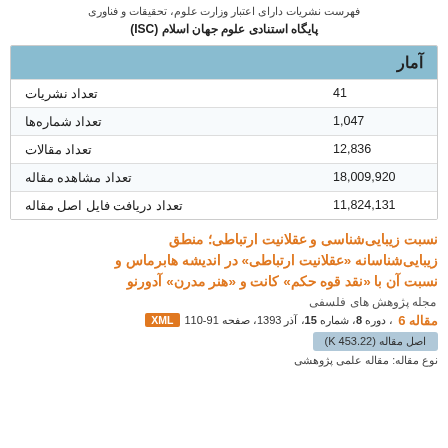فهرست نشریات دارای اعتبار وزارت علوم، تحقیقات و فناوری
پایگاه استنادی علوم جهان اسلام (ISC)
| آمار |  |
| --- | --- |
| تعداد نشریات | 41 |
| تعداد شماره‌ها | 1,047 |
| تعداد مقالات | 12,836 |
| تعداد مشاهده مقاله | 18,009,920 |
| تعداد دریافت فایل اصل مقاله | 11,824,131 |
نسبت زیبایی‌شناسی و عقلانیت ارتباطی؛ منطق زیبایی‌شناسانه «عقلانیت ارتباطی» در اندیشه هابرماس و نسبت آن با «نقد قوه حکم» کانت و «هنر مدرن» آدورنو
مجله پژوهش های فلسفی
مقاله 6، دوره 8، شماره 15، آذر 1393، صفحه 91-110  XML
اصل مقاله (K 453.22)
نوع مقاله: مقاله علمی پژوهشی